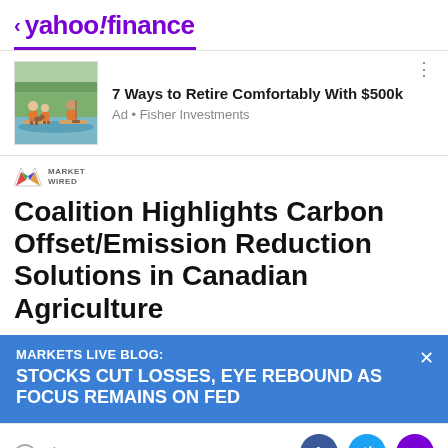< yahoo!finance
[Figure (illustration): Ad banner: Two people paddleboarding on water with a dog. Fisher Investments ad.]
7 Ways to Retire Comfortably With $500k
Ad • Fisher Investments
[Figure (logo): MarketWired logo with colorful M icon and MARKET WIRED text]
Coalition Highlights Carbon Offset/Emission Reduction Solutions in Canadian Agriculture
MARKETS LIVE BLOG:
STOCKS CUT LOSSES, EYE REBOUND AS FOCUS REMAINS ON FED
View comments